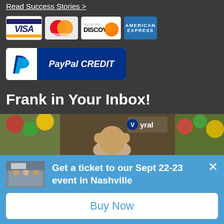Read Success Stories >
[Figure (logo): Payment method logos: Visa, MasterCard, Discover Network, American Express]
[Figure (logo): PayPal CREDIT logo — white box with blue P symbol on left, dark blue box with white italic PayPal CREDIT text on right]
Frank in Your Inbox!
[Figure (photo): Photo of a man at an event with Vyral branding banner in background]
Get a ticket to our Sept 22-23 event in Nashville
Buy Now